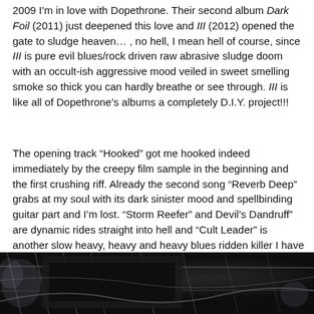2009 I'm in love with Dopethrone. Their second album Dark Foil (2011) just deepened this love and III (2012) opened the gate to sludge heaven… , no hell, I mean hell of course, since III is pure evil blues/rock driven raw abrasive sludge doom with an occult-ish aggressive mood veiled in sweet smelling smoke so thick you can hardly breathe or see through. III is like all of Dopethrone's albums a completely D.I.Y. project!!!
The opening track “Hooked” got me hooked indeed immediately by the creepy film sample in the beginning and the first crushing riff. Already the second song “Reverb Deep” grabs at my soul with its dark sinister mood and spellbinding guitar part and I’m lost. “Storm Reefer” and Devil’s Dandruff” are dynamic rides straight into hell and “Cult Leader” is another slow heavy, heavy and heavy blues ridden killer I have no words for. (I have, but I don’t say them.)
[Figure (photo): Black and white photograph showing what appears to be guitar equipment or amplifier with cables and metal structures, dimly lit]